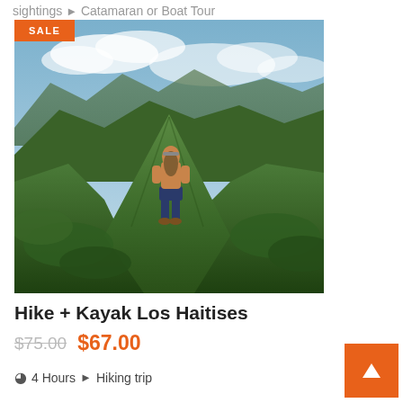sightings ➤ Catamaran or Boat Tour
[Figure (photo): Photo of a shirtless hiker standing on a lush green mountain ridge in Los Haitises, viewed from behind, with dense tropical vegetation and blue sky with clouds in the background. An orange SALE badge is in the top-left corner of the image.]
Hike + Kayak Los Haitises
$75.00  $67.00
4 Hours  Hiking trip